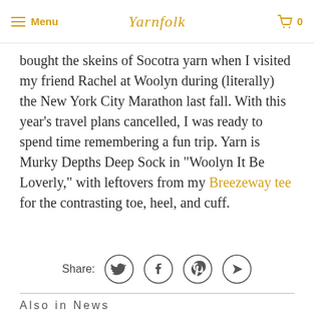Menu | Yarnfolk | 0
bought the skeins of Socotra yarn when I visited my friend Rachel at Woolyn during (literally) the New York City Marathon last fall. With this year's travel plans cancelled, I was ready to spend time remembering a fun trip. Yarn is Murky Depths Deep Sock in "Woolyn It Be Loverly," with leftovers from my Breezeway tee for the contrasting toe, heel, and cuff.
Share:
Also in News